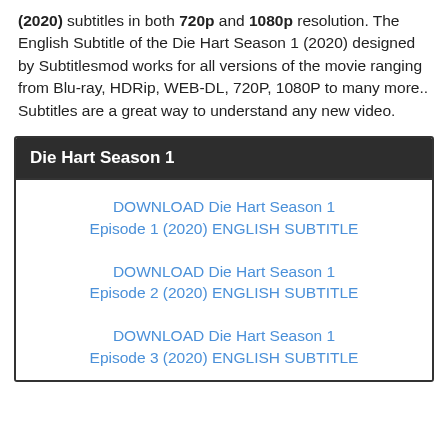(2020) subtitles in both 720p and 1080p resolution. The English Subtitle of the Die Hart Season 1 (2020) designed by Subtitlesmod works for all versions of the movie ranging from Blu-ray, HDRip, WEB-DL, 720P, 1080P to many more.. Subtitles are a great way to understand any new video.
| Die Hart Season 1 |
| --- |
| DOWNLOAD Die Hart Season 1 Episode 1 (2020) ENGLISH SUBTITLE |
| DOWNLOAD Die Hart Season 1 Episode 2 (2020) ENGLISH SUBTITLE |
| DOWNLOAD Die Hart Season 1 Episode 3 (2020) ENGLISH SUBTITLE |